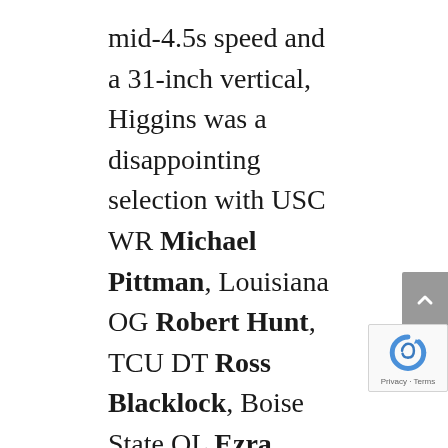mid-4.5s speed and a 31-inch vertical, Higgins was a disappointing selection with USC WR Michael Pittman, Louisiana OG Robert Hunt, TCU DT Ross Blacklock, Boise State OL Ezra Cleveland, and Baylor WR Denzel Mims still available. Offensive line was a bigger Bengals need than both receiver and off-ball linebacker, the latter of which Cincinnati arguably overkilled with three members of its seven-man class. Wilson does look likely to contribute positively soon, albeit at a devalued position. Kareem lacked production in South Bend. Adeniji is a legitimate late-round sleeper as a tackle-to-guard conversion with plus length and better-than-advertised athleticism. The Bengals got a lot better on